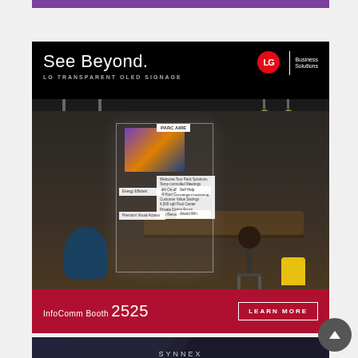[Figure (photo): Purple decorative strip at top of page]
[Figure (photo): LG Business Solutions advertisement featuring 'See Beyond.' tagline and LG Transparent OLED Signage. Shows a cafe/restaurant interior with a transparent OLED display panel. Bottom red bar shows 'InfoComm Booth 2525' with a 'LEARN MORE' button.]
[Figure (photo): SYNNEX VISUALSolv advertisement with InfoComm 2019 branding, dark background with geometric shapes]